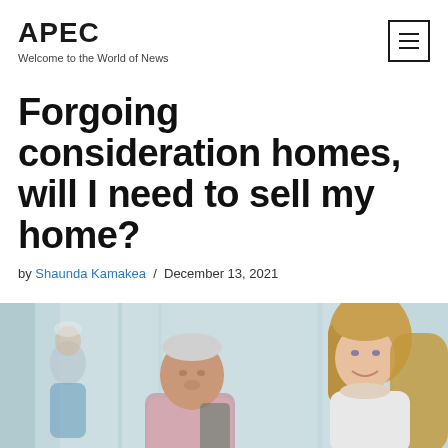APEC
Welcome to the World of News
Forgoing consideration homes, will I need to sell my home?
by Shaunda Kamakea / December 13, 2021
[Figure (photo): Elderly man being assisted by a smiling young woman, with a background figure in blue clothing, set in what appears to be a care home or domestic interior with curtain-like background.]